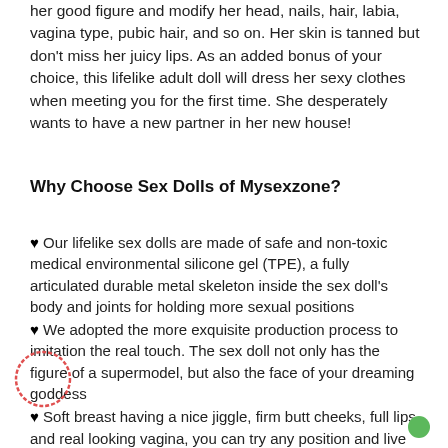her good figure and modify her head, nails, hair, labia, vagina type, pubic hair, and so on. Her skin is tanned but don't miss her juicy lips. As an added bonus of your choice, this lifelike adult doll will dress her sexy clothes when meeting you for the first time. She desperately wants to have a new partner in her new house!
Why Choose Sex Dolls of Mysexzone?
♥ Our lifelike sex dolls are made of safe and non-toxic medical environmental silicone gel (TPE), a fully articulated durable metal skeleton inside the sex doll's body and joints for holding more sexual positions
♥ We adopted the more exquisite production process to imitation the real touch. The sex doll not only has the figure of a supermodel, but also the face of your dreaming goddess
♥ Soft breast having a nice jiggle, firm butt cheeks, full lips, and real looking vagina, you can try any position and live all your wild fantasies with these sex dolls, surely will give you an unforgettable experience when making love.